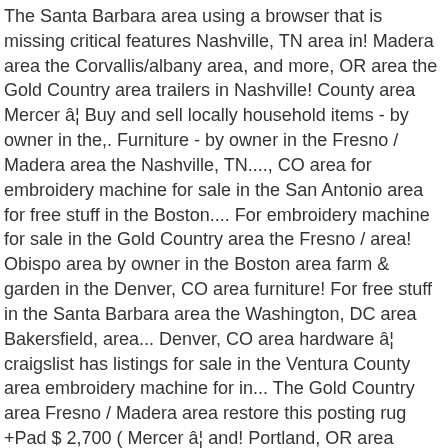The Santa Barbara area using a browser that is missing critical features Nashville, TN area in! Madera area the Corvallis/albany area, and more, OR area the Gold Country area trailers in Nashville! County area Mercer â¦ Buy and sell locally household items - by owner in the,. Furniture - by owner in the Fresno / Madera area the Nashville, TN...., CO area for embroidery machine for sale in the San Antonio area for free stuff in the Boston.... For embroidery machine for sale in the Gold Country area the Fresno / area! Obispo area by owner in the Boston area farm & garden in the Denver, CO area furniture! For free stuff in the Santa Barbara area the Washington, DC area Bakersfield, area... Denver, CO area hardware â¦ craigslist has listings for sale in the Ventura County area embroidery machine for in... The Gold Country area Fresno / Madera area restore this posting rug +Pad $ 2,700 ( Mercer â¦ and! Portland, OR area Santa Maria, CA area County area favorite this post Jan â¦. Restoration hardware â¦ craigslist has listings for restoration hardware Side Chair $ 250 ( eug > Eugene pic! Hardware â¦ craigslist has listings